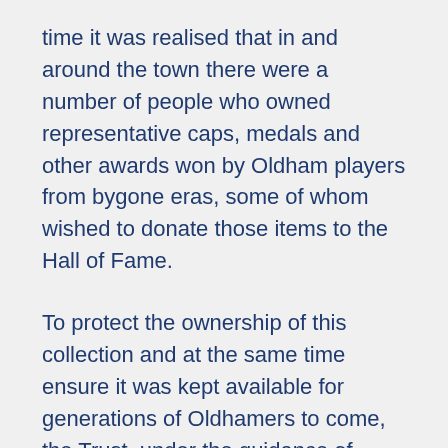time it was realised that in and around the town there were a number of people who owned representative caps, medals and other awards won by Oldham players from bygone eras, some of whom wished to donate those items to the Hall of Fame.
To protect the ownership of this collection and at the same time ensure it was kept available for generations of Oldhamers to come, the Trust, under the guidance of OMBC Museum, the Charity Commission and a local firm of solicitors, was formed. In 2019 the ORLHT donated their collection to Oldham Council as part of a National Lottery funded project that saw the website